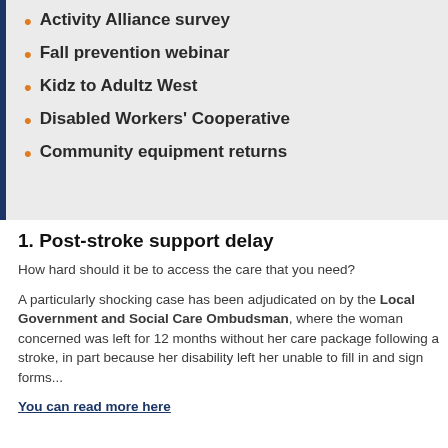Activity Alliance survey
Fall prevention webinar
Kidz to Adultz West
Disabled Workers' Cooperative
Community equipment returns
1. Post-stroke support delay
How hard should it be to access the care that you need?
A particularly shocking case has been adjudicated on by the Local Government and Social Care Ombudsman, where the woman concerned was left for 12 months without her care package following a stroke, in part because her disability left her unable to fill in and sign forms...
You can read more here